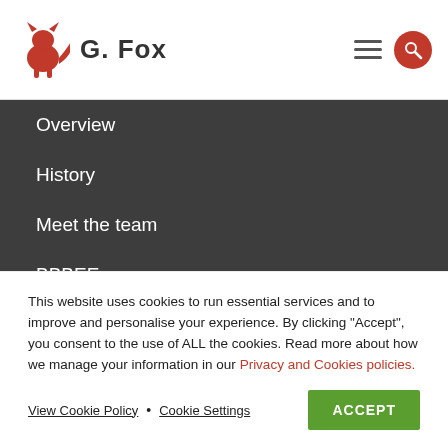G. Fox
Overview
History
Meet the team
BBBEE
Blog
Contact us
This website uses cookies to run essential services and to improve and personalise your experience. By clicking "Accept", you consent to the use of ALL the cookies. Read more about how we manage your information in our Privacy and Cookies policies.
View Cookie Policy • Cookie Settings ACCEPT